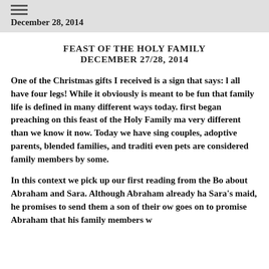December 28, 2014
FEAST OF THE HOLY FAMILY
DECEMBER 27/28, 2014
One of the Christmas gifts I received is a sign that says: [all have four legs!] While it obviously is meant to be fun[ny], that family life is defined in many different ways today. [I] first began preaching on this feast of the Holy Family ma[ny years ago, family was] very different than we know it now. Today we have sing[le parents,] couples, adoptive parents, blended families, and traditi[onal families,] even pets are considered family members by some.
In this context we pick up our first reading from the Bo[ok of Genesis] about Abraham and Sara. Although Abraham already ha[d a son through] Sara's maid, he promises to send them a son of their ow[n. God] goes on to promise Abraham that his family members w[ill be...